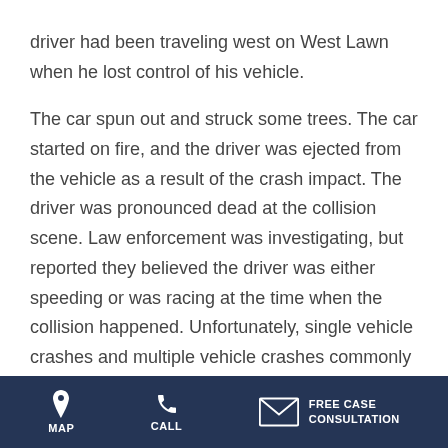driver had been traveling west on West Lawn when he lost control of his vehicle.

The car spun out and struck some trees. The car started on fire, and the driver was ejected from the vehicle as a result of the crash impact. The driver was pronounced dead at the collision scene. Law enforcement was investigating, but reported they believed the driver was either speeding or was racing at the time when the collision happened. Unfortunately, single vehicle crashes and multiple vehicle crashes commonly occur because of
MAP | CALL | FREE CASE CONSULTATION